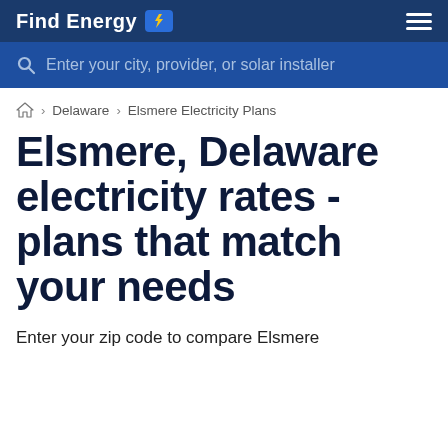Find Energy
Enter your city, provider, or solar installer
Home › Delaware › Elsmere Electricity Plans
Elsmere, Delaware electricity rates - plans that match your needs
Enter your zip code to compare Elsmere